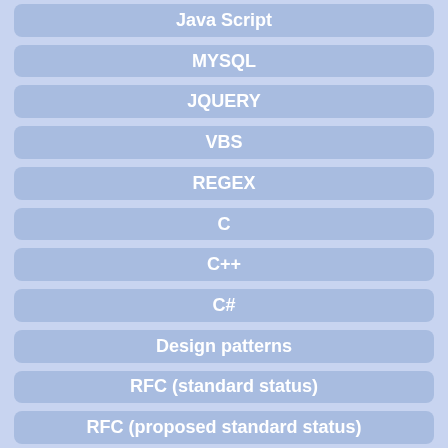Java Script
MYSQL
JQUERY
VBS
REGEX
C
C++
C#
Design patterns
RFC (standard status)
RFC (proposed standard status)